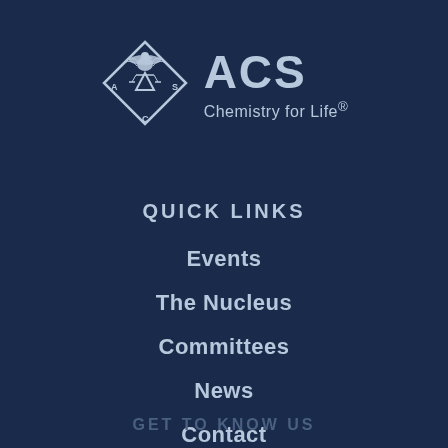[Figure (logo): ACS Chemistry for Life logo with diamond shape containing an eagle atop a balance/triangle symbol, with 'A', 'C', 'S' letters in the diamond corners]
ACS Chemistry for Life®
QUICK LINKS
Events
The Nucleus
Committees
News
Contact
GET TO KNOW US